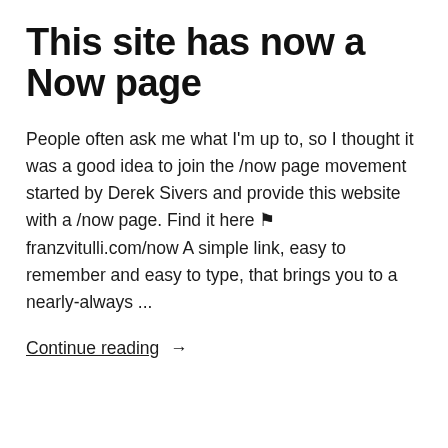This site has now a Now page
People often ask me what I'm up to, so I thought it was a good idea to join the /now page movement started by Derek Sivers and provide this website with a /now page. Find it here ⚑ franzvitulli.com/now A simple link, easy to remember and easy to type, that brings you to a nearly-always ...
Continue reading →